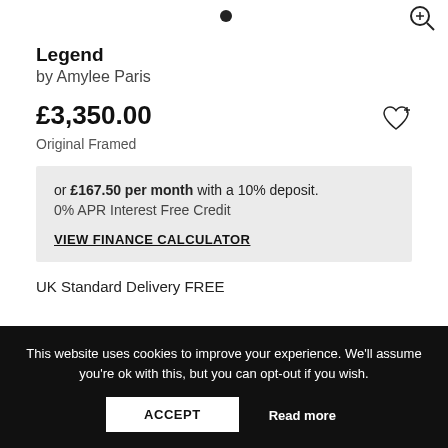Legend
by Amylee Paris
£3,350.00
Original Framed
or £167.50 per month with a 10% deposit. 0% APR Interest Free Credit
VIEW FINANCE CALCULATOR
UK Standard Delivery FREE
This website uses cookies to improve your experience. We'll assume you're ok with this, but you can opt-out if you wish.
ACCEPT
Read more